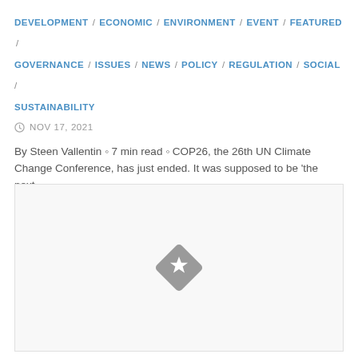DEVELOPMENT / ECONOMIC / ENVIRONMENT / EVENT / FEATURED / GOVERNANCE / ISSUES / NEWS / POLICY / REGULATION / SOCIAL / SUSTAINABILITY
NOV 17, 2021
By Steen Vallentin ◦ 7 min read ◦ COP26, the 26th UN Climate Change Conference, has just ended. It was supposed to be 'the next...
[Figure (other): A placeholder image box with a gray diamond-shaped star icon in the center, indicating an image that has not loaded or is pending.]